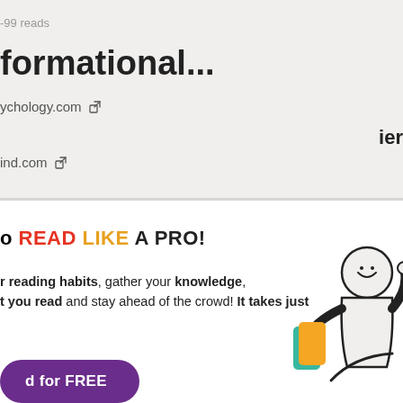-99 reads
formational...
ychology.com [link icon]
ier
ind.com [link icon]
o READ LIKE A PRO!
r reading habits, gather your knowledge, t you read and stay ahead of the crowd! It takes just
d for FREE